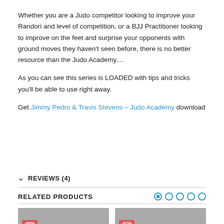Whether you are a Judo competitor looking to improve your Randori and level of competition, or a BJJ Practitioner looking to improve on the feet and surprise your opponents with ground moves they haven't seen before, there is no better resource than the Judo Academy…
As you can see this series is LOADED with tips and tricks you'll be able to use right away.
Get Jimmy Pedro & Travis Stevens – Judo Academy download
REVIEWS (4)
RELATED PRODUCTS